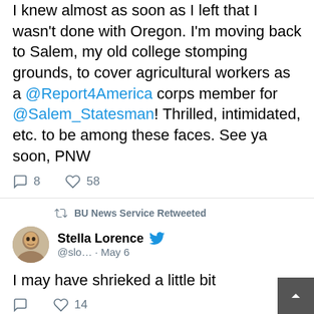I knew almost as soon as I left that I wasn't done with Oregon. I'm moving back to Salem, my old college stomping grounds, to cover agricultural workers as a @Report4America corps member for @Salem_Statesman! Thrilled, intimidated, etc. to be among these faces. See ya soon, PNW
8 comments, 58 likes
BU News Service Retweeted
Stella Lorence @slo... · May 6
I may have shrieked a little bit
14 likes